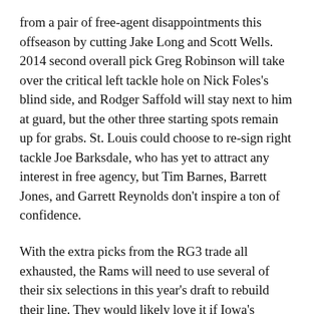from a pair of free-agent disappointments this offseason by cutting Jake Long and Scott Wells. 2014 second overall pick Greg Robinson will take over the critical left tackle hole on Nick Foles's blind side, and Rodger Saffold will stay next to him at guard, but the other three starting spots remain up for grabs. St. Louis could choose to re-sign right tackle Joe Barksdale, who has yet to attract any interest in free agency, but Tim Barnes, Barrett Jones, and Garrett Reynolds don't inspire a ton of confidence.
With the extra picks from the RG3 trade all exhausted, the Rams will need to use several of their six selections in this year's draft to rebuild their line. They would likely love it if Iowa's Brandon Scherff fell to them at 10, but if he doesn't, they could invest in top guard La'el Collins (LSU) at 11. Fast-rising Pittsburgh tackle T.J. Clemmings could also complete his move up the board here.